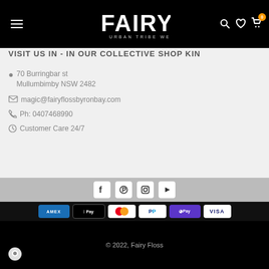Fairy Floss Urban Tribe Wear
VISIT US IN - IN OUR COLLECTIVE SHOP KIN
70 Burringbar st
Mullumbimby NSW 2482
magic@fairyflossbyronbay.com
Ph: 0407468990
Customer Care 24/7
[Figure (logo): Social media icons: Facebook, Pinterest, Instagram, YouTube]
[Figure (infographic): Payment methods: Amex, Apple Pay, Mastercard, PayPal, GPay/DPay, Visa]
© 2022, Fairy Floss